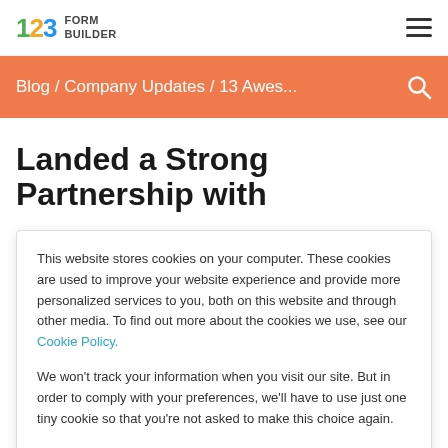123 FORM BUILDER
Blog / Company Updates / 13 Awes...
Landed a Strong Partnership with
This website stores cookies on your computer. These cookies are used to improve your website experience and provide more personalized services to you, both on this website and through other media. To find out more about the cookies we use, see our Cookie Policy.
We won't track your information when you visit our site. But in order to comply with your preferences, we'll have to use just one tiny cookie so that you're not asked to make this choice again.